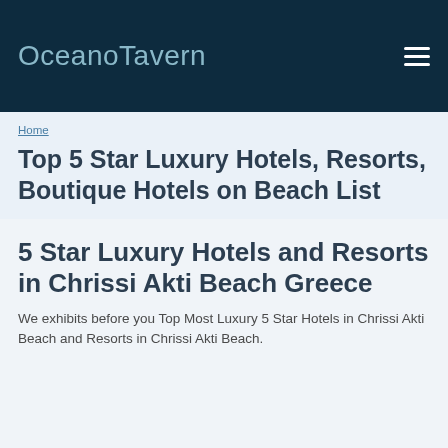OceanoTavern
Home
Top 5 Star Luxury Hotels, Resorts, Boutique Hotels on Beach List
5 Star Luxury Hotels and Resorts in Chrissi Akti Beach Greece
We exhibits before you Top Most Luxury 5 Star Hotels in Chrissi Akti Beach and Resorts in Chrissi Akti Beach.